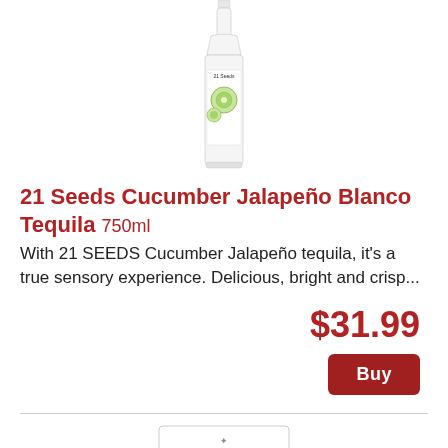[Figure (photo): A tall clear glass bottle of 21 Seeds Cucumber Jalapeño Blanco Tequila 750ml, with cucumber slices visible on the label]
21 Seeds Cucumber Jalapeño Blanco Tequila 750ml
With 21 SEEDS Cucumber Jalapeño tequila, it's a true sensory experience. Delicious, bright and crisp...
$31.99
Buy
[Figure (photo): A white box/bottle of Canomil product with purple logo text and small script text above]